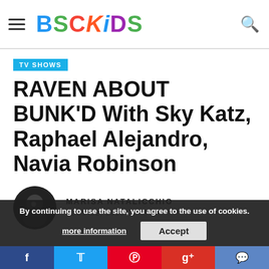BSCKiDS
TV SHOWS
RAVEN ABOUT BUNK'D With Sky Katz, Raphael Alejandro, Navia Robinson
MARISA NATALICCHIO
JULY 22, 2020
By continuing to use the site, you agree to the use of cookies. more information Accept